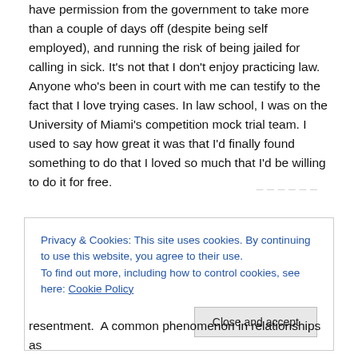have permission from the government to take more than a couple of days off (despite being self employed), and running the risk of being jailed for calling in sick. It's not that I don't enjoy practicing law. Anyone who's been in court with me can testify to the fact that I love trying cases. In law school, I was on the University of Miami's competition mock trial team. I used to say how great it was that I'd finally found something to do that I loved so much that I'd be willing to do it for free.
Privacy & Cookies: This site uses cookies. By continuing to use this website, you agree to their use. To find out more, including how to control cookies, see here: Cookie Policy
resentment.  A common phenomenon in relationships as